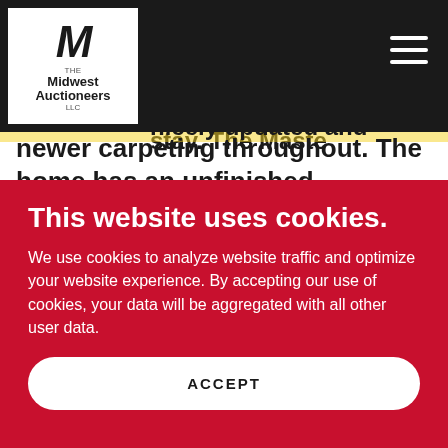Midwest Auctioneers LLC logo and navigation header
will find a large kitchen with oak cabinets and appliances will stay. The Master bedroom has been nicely updated and newer carpeting throughout. The home has an unfinished basement for extra living opportunity. $1500 required down day of sale and remainder due at closing. Taxes are paid for 2021 and prior & 2022
This website uses cookies.
We use cookies to analyze website traffic and optimize your website experience. By accepting our use of cookies, your data will be aggregated with all other user data.
ACCEPT